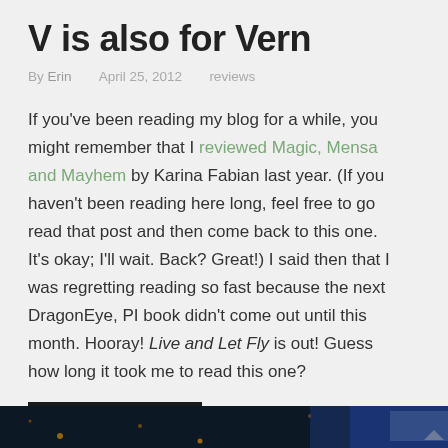V is also for Vern
By Erin   April 25, 2012   reviews
If you've been reading my blog for a while, you might remember that I reviewed Magic, Mensa and Mayhem by Karina Fabian last year. (If you haven't been reading here long, feel free to go read that post and then come back to this one. It's okay; I'll wait. Back? Great!) I said then that I was regretting reading so fast because the next DragonEye, PI book didn't come out until this month. Hooray! Live and Let Fly is out! Guess how long it took me to read this one?
Continue reading
Tagged   Karina Fabian